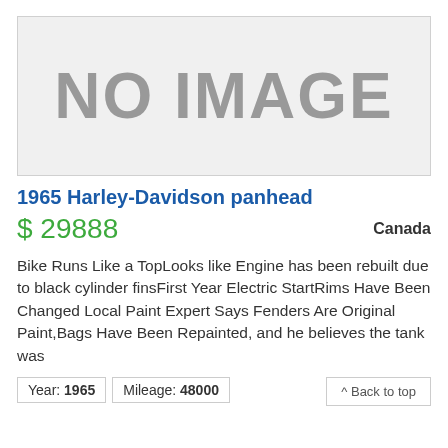[Figure (other): No image placeholder box with text 'NO IMAGE' in gray on light gray background]
1965 Harley-Davidson panhead
$ 29888
Canada
Bike Runs Like a TopLooks like Engine has been rebuilt due to black cylinder finsFirst Year Electric StartRims Have Been Changed Local Paint Expert Says Fenders Are Original Paint,Bags Have Been Repainted, and he believes the tank was
Year: 1965   Mileage: 48000
^ Back to top